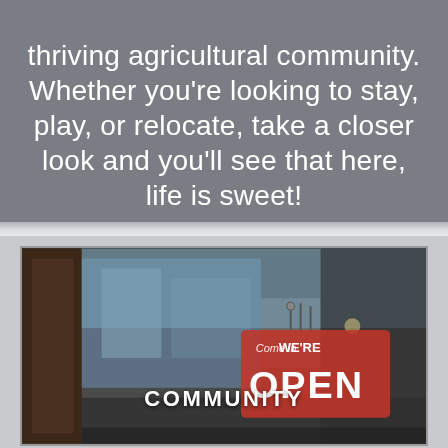thriving agricultural community. Whether you're looking to stay, play, or relocate, take a closer look and you'll see that here, life is sweet!
[Figure (photo): Photo of a storefront with a red 'Come in WE'RE OPEN' sign hanging in a window, with blurred street/buildings visible in background. Text overlay reads 'COMMUNITY'.]